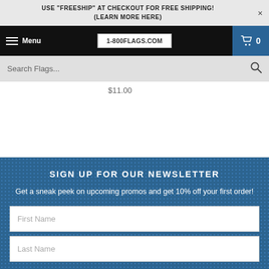USE "FREESHIP" AT CHECKOUT FOR FREE SHIPPING! (LEARN MORE HERE)
[Figure (screenshot): Navigation bar with hamburger menu, Menu text, 1-800FLAGS.COM logo in white box, and cart icon with 0 count on blue background]
Search Flags...
$11.00
SIGN UP FOR OUR NEWSLETTER
Get a sneak peek on upcoming promos and get 10% off your first order!
First Name
Last Name